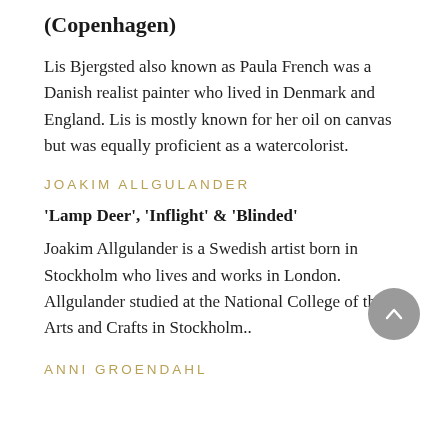(Copenhagen)
Lis Bjergsted also known as Paula French was a Danish realist painter who lived in Denmark and England. Lis is mostly known for her oil on canvas but was equally proficient as a watercolorist.
JOAKIM ALLGULANDER
'Lamp Deer', 'Inflight' & 'Blinded'
Joakim Allgulander is a Swedish artist born in Stockholm who lives and works in London. Allgulander studied at the National College of the Arts and Crafts in Stockholm..
ANNI GROENDAHL